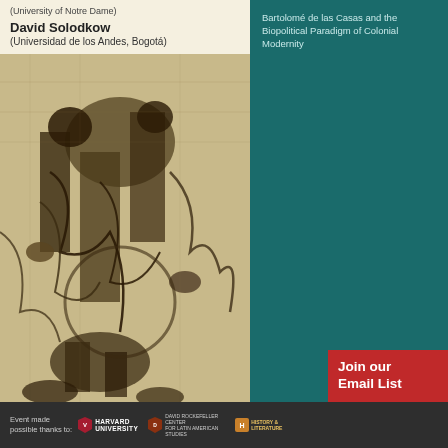(University of Notre Dame)
David Solodkow
(Universidad de los Andes, Bogotá)
[Figure (illustration): Woodcut-style engraving showing figures in historical scene, inverted/upside-down composition]
Lecture
Bartolomé de las Casas and the Biopolitical Paradigm of Colonial Modernity
Thursday Oct 5
Emerson 108
5:00 - 7:00 pm
Workshop
Las Casas and the hospital that never was: Humanitarian Colonialism and Utopian Politics of Health
Friday  Oct 6
Barker 133
1:00 - 3:00 pm
Space is Limited,
Lunch is Provided
Join our Email List
Event made possible thanks to:
HARVARD UNIVERSITY | DAVID ROCKEFELLER CENTER FOR LATIN AMERICAN STUDIES | HISTORY & LITERATURE